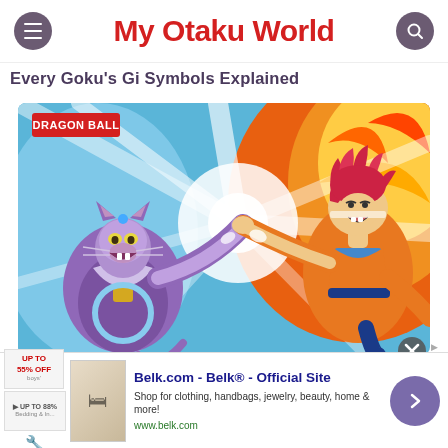My Otaku World
Every Goku's Gi Symbols Explained
[Figure (illustration): Anime illustration showing Super Saiyan God Goku with red hair in orange gi sparring against Beerus (purple cat deity), with a dramatic burst of white light and fire between them. A red badge reads 'DRAGON BALL'.]
Belk.com - Belk® - Official Site
Shop for clothing, handbags, jewelry, beauty, home & more!
www.belk.com